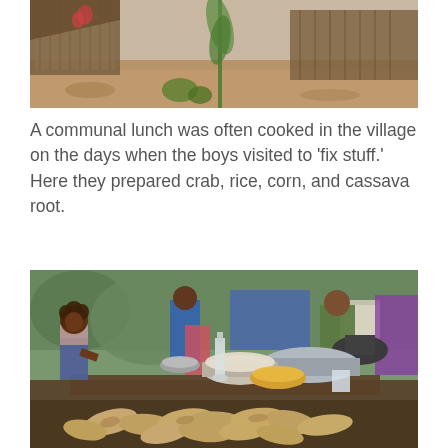[Figure (photo): Top portion of a photo showing a village scene with a rustic wooden structure, dirt ground, and some green plants/vegetation in the background.]
A communal lunch was often cooked in the village on the days when the boys visited to ‘fix stuff.’ Here they prepared crab, rice, corn, and cassava root.
[Figure (photo): A scene of communal cooking outdoors in a village. In the foreground is a wooden table covered with cassava roots, metal bowls with rice and other foods, a glass bottle. A young child with curly hair stands on the left. In the background, several adults are visible, including a man in a green t-shirt stirring a large pot, and others in colorful clothing.]